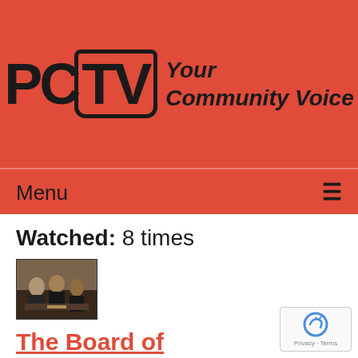[Figure (logo): PCTV logo with stylized letters PC and TV in a rounded rectangle, with tagline 'Your Community Voice' in italic bold]
Menu ≡
Watched: 8 times
[Figure (photo): Dark thumbnail image showing people at a podium or meeting table]
The Board of Education Meeting of 09-12-17
Airdate: 09/12/2017